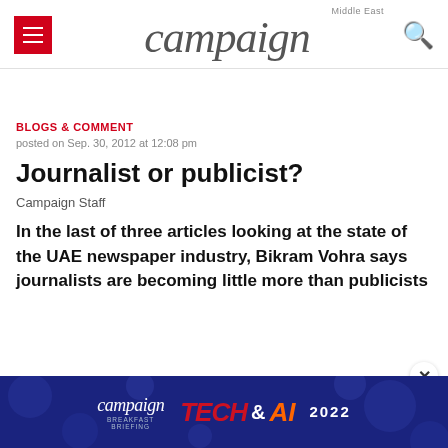campaign Middle East
BLOGS & COMMENT
posted on Sep. 30, 2012 at 12:08 pm
Journalist or publicist?
Campaign Staff
In the last of three articles looking at the state of the UAE newspaper industry, Bikram Vohra says journalists are becoming little more than publicists
[Figure (screenshot): Campaign Breakfast Briefing TECH & AI 2022 advertisement banner with dark blue background]